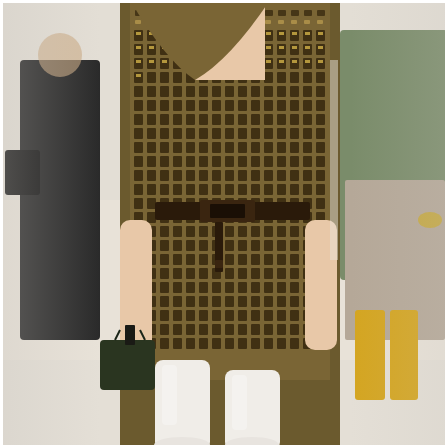[Figure (photo): Fashion runway photograph showing a model walking in a Fendi monogram (FF logo pattern) brown wrap dress with a dark leather belt tied at the waist. The model carries a small dark green bucket bag in one hand and wears tall white knee-high boots. In the background, other models are visible: one wearing all black carrying a black bag, and another in an olive/green top with taupe pleated trousers and yellow boots. The runway floor is white/cream. The dress features the iconic Fendi zucca FF monogram print in tan and dark brown throughout.]